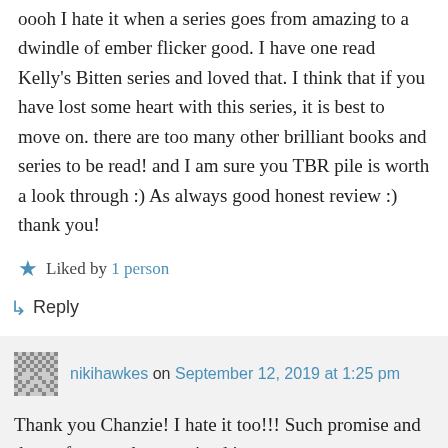oooh I hate it when a series goes from amazing to a dwindle of ember flicker good. I have one read Kelly’s Bitten series and loved that. I think that if you have lost some heart with this series, it is best to move on. there are too many other brilliant books and series to be read! and I am sure you TBR pile is worth a look through :) As always good honest review :) thank you!
Liked by 1 person
Reply
nikihawkes on September 12, 2019 at 1:25 pm
Thank you Chanzie! I hate it too!!! Such promise and then a few good ones mixed in